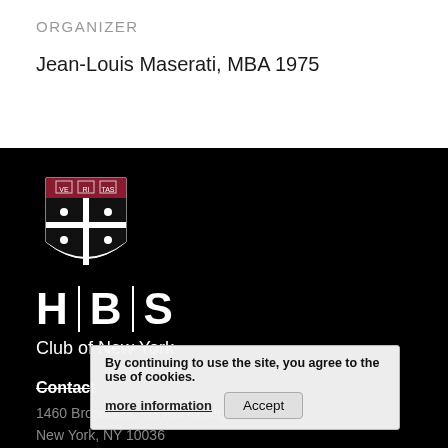ORGANIZER
Jean-Louis Maserati, MBA 1975
[Figure (logo): Harvard Business School shield logo above HBS wordmark with vertical dividers, followed by 'Club of New York' text, on black background]
Contact
1460 Broadway, WeWork Bldg
New York, NY 10036
201-588-3758
By continuing to use the site, you agree to the use of cookies.
more information
Accept